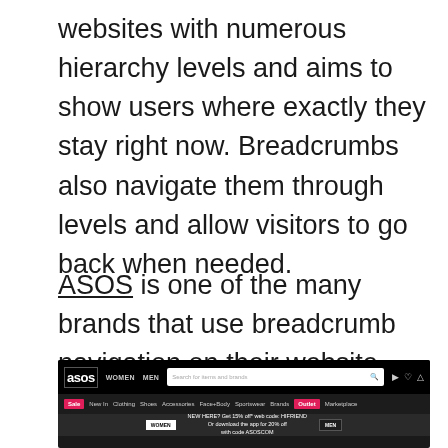websites with numerous hierarchy levels and aims to show users where exactly they stay right now. Breadcrumbs also navigate them through levels and allow visitors to go back when needed.
ASOS is one of the many brands that use breadcrumb navigation on their website.
[Figure (screenshot): Screenshot of the ASOS website showing the header navigation bar with ASOS logo, Women and Men nav links, a search bar, and category tabs including Sale, New In, Clothing, Shoes, Accessories, Sportswear, Face+Body, Brands, Outlet, and Marketplace. A promotional banner reads 'NEW HERE? Get 15% off* web code: HIFRIEND Or download the app for 20% off with code ASOSCOM'. Women and Men selector buttons visible at the bottom.]